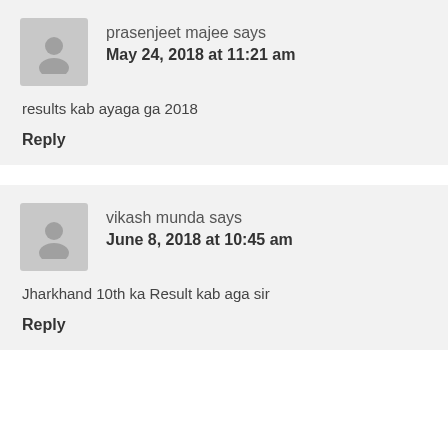prasenjeet majee says
May 24, 2018 at 11:21 am
results kab ayaga ga 2018
Reply
vikash munda says
June 8, 2018 at 10:45 am
Jharkhand 10th ka Result kab aga sir
Reply